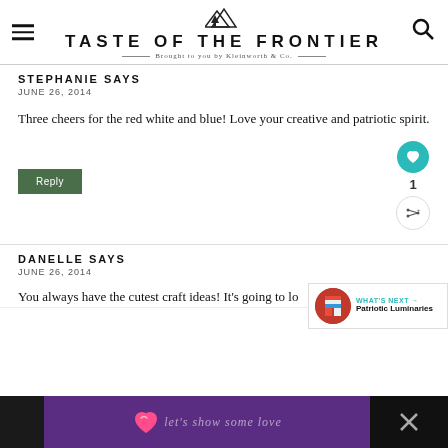TASTE OF THE FRONTIER — Brought to you by Kleinworth & Co.
STEPHANIE SAYS
JUNE 26, 2014
Three cheers for the red white and blue! Love your creative and patriotic spirit.
DANELLE SAYS
JUNE 26, 2014
You always have the cutest craft ideas! It's going to look great on your porch!